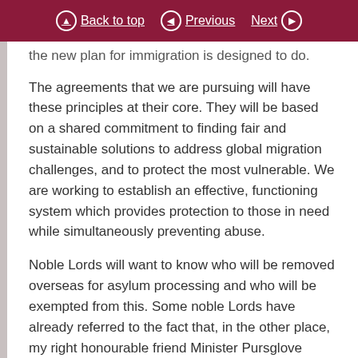Back to top  Previous  Next
the new plan for immigration is designed to do.
The agreements that we are pursuing will have these principles at their core. They will be based on a shared commitment to finding fair and sustainable solutions to address global migration challenges, and to protect the most vulnerable. We are working to establish an effective, functioning system which provides protection to those in need while simultaneously preventing abuse.
Noble Lords will want to know who will be removed overseas for asylum processing and who will be exempted from this. Some noble Lords have already referred to the fact that, in the other place, my right honourable friend Minister Pursglove made clear that unaccompanied asylum-seeking children would